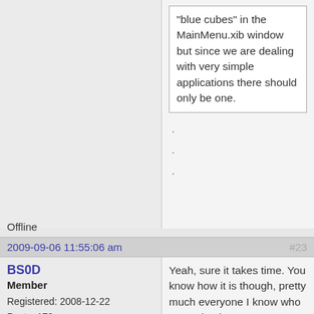blue cubes in the MainMenu.xib window but since we are dealing with very simple applications there should only be one.
.
.
.
Offline
2009-09-06 11:55:06 am
#23
BS0D
Member
Registered: 2008-12-22
Posts: 179
Yeah, sure it takes time. You know how it is though, pretty much everyone I know who wanted to learn programming also wanted to know it all in a day and be able to code actual applications in no time.